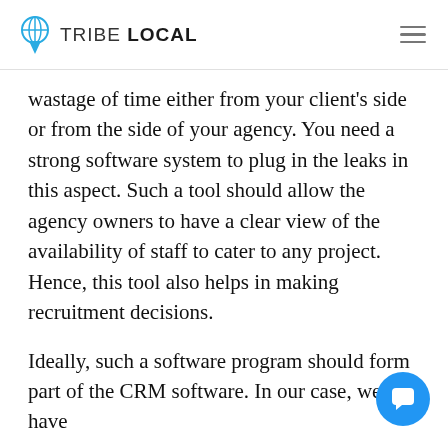TRIBE LOCAL
wastage of time either from your client’s side or from the side of your agency. You need a strong software system to plug in the leaks in this aspect. Such a tool should allow the agency owners to have a clear view of the availability of staff to cater to any project. Hence, this tool also helps in making recruitment decisions.
Ideally, such a software program should form part of the CRM software. In our case, we have